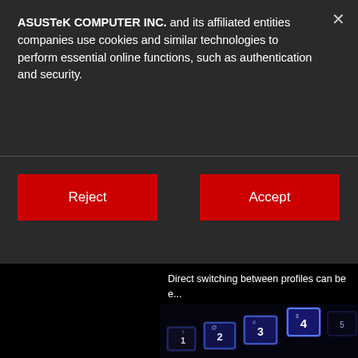ASUSTeK COMPUTER INC. and its affiliated entities companies use cookies and similar technologies to perform essential online functions, such as authentication and security.
Reject
Accept
Direct switching between profiles can be e... profiles isn't entirely necessary. Each pro... Fn + [Profile number], e.g. Profile 3 = Fn ...
[Figure (photo): Close-up photo of a backlit mechanical gaming keyboard with blue-lit number keys (1, 2, 3, 4) visible in the lower right area, on a dark/black background.]